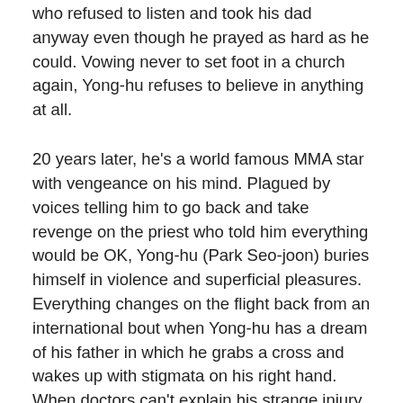who refused to listen and took his dad anyway even though he prayed as hard as he could. Vowing never to set foot in a church again, Yong-hu refuses to believe in anything at all.
20 years later, he's a world famous MMA star with vengeance on his mind. Plagued by voices telling him to go back and take revenge on the priest who told him everything would be OK, Yong-hu (Park Seo-joon) buries himself in violence and superficial pleasures. Everything changes on the flight back from an international bout when Yong-hu has a dream of his father in which he grabs a cross and wakes up with stigmata on his right hand. When doctors can't explain his strange injury which refuses to heal, he turns to a shaman who tells him that he is rife with demonic energy and is only protected by the shining goodness of his father's wedding ring which he still wears on a cord around his neck. Perhaps surprisingly, the shaman advises him to follow the cross and go to a church at a certain time where a man will help him. The man turns out to be father Ahn (Ahn Sung-ki) – a Vatican-based exorcist currently in the middle of a case so difficult it's sent his assistant